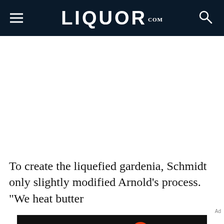LIQUOR.COM
To create the liquefied gardenia, Schmidt only slightly modified Arnold’s process. “We heat butter
[Figure (other): Advertisement banner: 'We help people find answers, solve problems and get inspired.' with Dotdash Meredith logo]